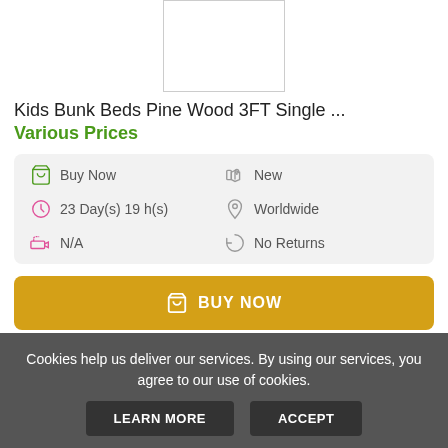[Figure (photo): Product thumbnail image of kids bunk beds, cropped at top]
Kids Bunk Beds Pine Wood 3FT Single ...
Various Prices
| Buy Now | New |
| 23 Day(s) 19 h(s) | Worldwide |
| N/A | No Returns |
[Figure (other): BUY NOW button with shopping cart icon]
[Figure (photo): Second product thumbnail image at bottom]
Cookies help us deliver our services. By using our services, you agree to our use of cookies.
LEARN MORE   ACCEPT